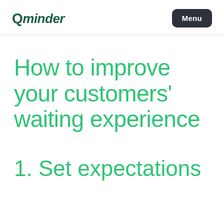Qminder | Menu
How to improve your customers’ waiting experience
1. Set expectations